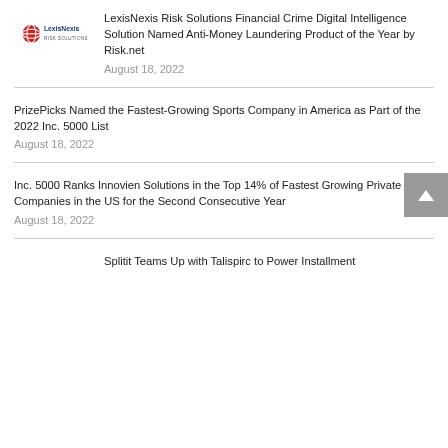[Figure (logo): LexisNexis Risk Solutions logo with red globe icon and blue text]
LexisNexis Risk Solutions Financial Crime Digital Intelligence Solution Named Anti-Money Laundering Product of the Year by Risk.net
August 18, 2022
PrizePicks Named the Fastest-Growing Sports Company in America as Part of the 2022 Inc. 5000 List
August 18, 2022
Inc. 5000 Ranks Innovien Solutions in the Top 14% of Fastest Growing Private Companies in the US for the Second Consecutive Year
August 18, 2022
Splitit Teams Up with Talispirc to Power Installment